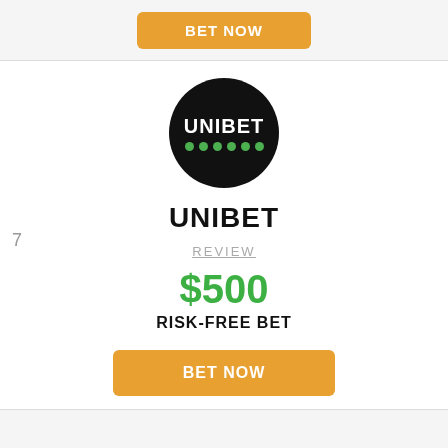[Figure (logo): Orange BET NOW button on light gray background bar at top]
7
[Figure (logo): Unibet circular logo: black circle with white UNIBET text and green dots beneath]
UNIBET
REVIEW
$500
RISK-FREE BET
[Figure (other): Orange BET NOW button]
[Figure (other): Light gray bottom bar]